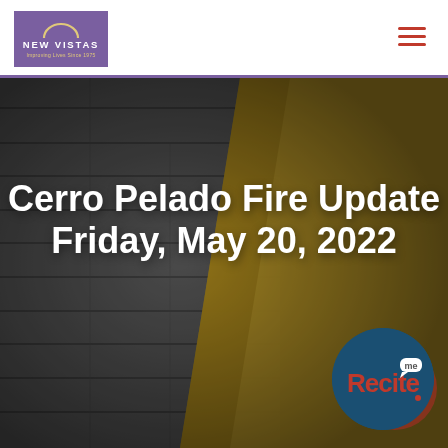[Figure (logo): New Vistas logo — purple rectangle with arch icon, white text 'NEW VISTAS', gold subtitle 'Improving Lives Since 1975']
[Figure (other): Hamburger menu icon — three horizontal dark red lines]
[Figure (photo): Hero image showing gray wood plank background with a folded New Mexico state flag (gold and black colors) in the right portion]
Cerro Pelado Fire Update Friday, May 20, 2022
[Figure (logo): Recite Me accessibility badge — circular dark blue background with red 'Recite' text and white 'me' bubble, small white dot at bottom]